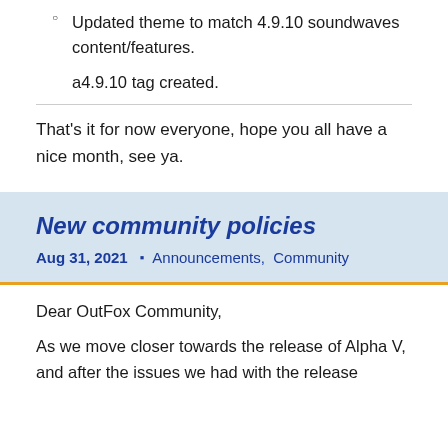Updated theme to match 4.9.10 soundwaves content/features.
a4.9.10 tag created.
That's it for now everyone, hope you all have a nice month, see ya.
New community policies
Aug 31, 2021  • Announcements,  Community
Dear OutFox Community,
As we move closer towards the release of Alpha V, and after the issues we had with the release